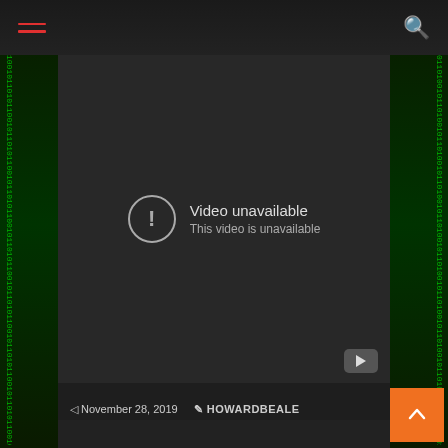Navigation header with hamburger menu and search icon
[Figure (screenshot): Embedded YouTube video player showing 'Video unavailable - This video is unavailable' error message on dark background]
November 28, 2019   HOWARDBEALE